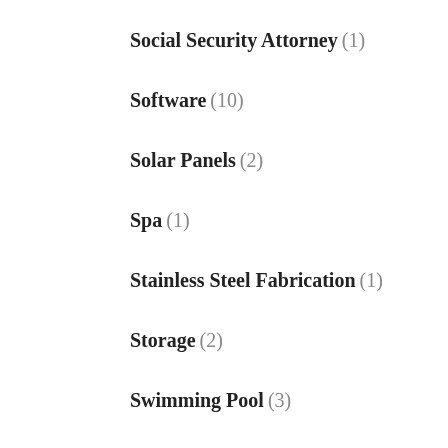Social Security Attorney (1)
Software (10)
Solar Panels (2)
Spa (1)
Stainless Steel Fabrication (1)
Storage (2)
Swimming Pool (3)
Swimming Pools (6)
Tax Services (3)
Telecommunications (3)
Telecommunications Service Provider (2)
Tire Shop (1)